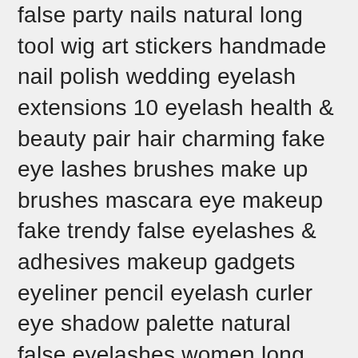false party nails natural long tool wig art stickers handmade nail polish wedding eyelash extensions 10 eyelash health & beauty pair hair charming fake eye lashes brushes make up brushes mascara eye makeup fake trendy false eyelashes & adhesives makeup gadgets eyeliner pencil eyelash curler eye shadow palette natural false eyelashes women long eyelashes false eyelash makeup kit fiber thin. 🌸🌸🌸makeup palette eye cosmetic palette lipstick eyeshadow primer makeup kit eye shadow makeup palette shimmery eye shadow makeup brushes & tools (makeup) (beauty) glitter eyeshadow eye shadow brush set women eye palette tool black makeup tools eyeliner gloss blusher make up eyeshadow cosmetic set. 🌸🌸🌸powder puff beauty makeup